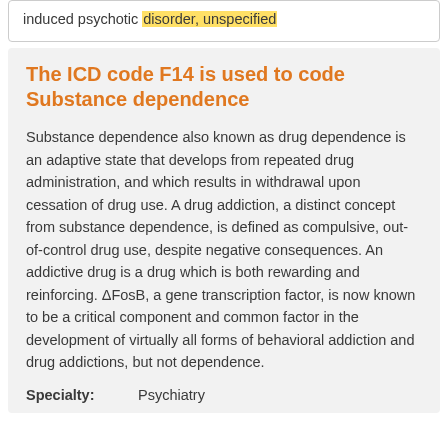induced psychotic disorder, unspecified
The ICD code F14 is used to code Substance dependence
Substance dependence also known as drug dependence is an adaptive state that develops from repeated drug administration, and which results in withdrawal upon cessation of drug use. A drug addiction, a distinct concept from substance dependence, is defined as compulsive, out-of-control drug use, despite negative consequences. An addictive drug is a drug which is both rewarding and reinforcing. ΔFosB, a gene transcription factor, is now known to be a critical component and common factor in the development of virtually all forms of behavioral addiction and drug addictions, but not dependence.
Specialty: Psychiatry